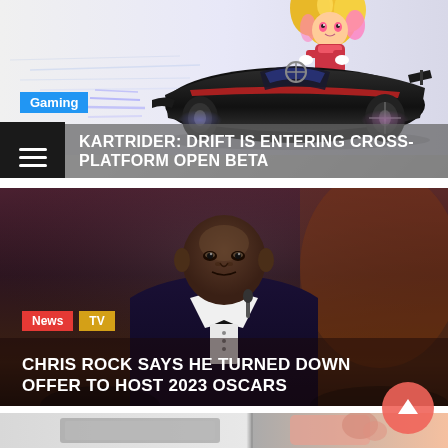[Figure (illustration): KartRider: Drift racing game illustration showing an animated character driving a black racing kart, with colorful anime-style artwork on a light background]
Gaming
KARTRIDER: DRIFT IS ENTERING CROSS-PLATFORM OPEN BETA
[Figure (photo): Photo of Chris Rock in a dark suit and bow tie at what appears to be an awards ceremony, against a warm brown background]
News  TV
CHRIS ROCK SAYS HE TURNED DOWN OFFER TO HOST 2023 OSCARS
[Figure (photo): Partial view of what appears to be a tech product showcase, showing a tablet device on the left and a pink Samsung Galaxy smartphone on the right, with a coral/orange circle scroll-to-top button overlay]